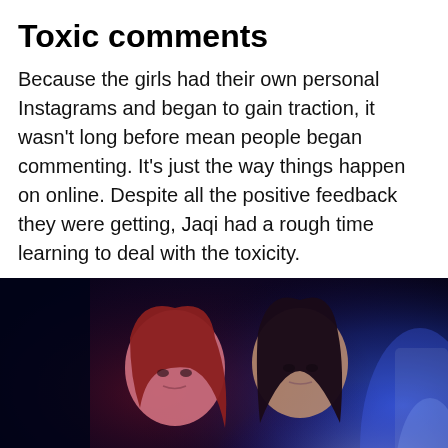Toxic comments
Because the girls had their own personal Instagrams and began to gain traction, it wasn't long before mean people began commenting. It's just the way things happen on online. Despite all the positive feedback they were getting, Jaqi had a rough time learning to deal with the toxicity.
[Figure (photo): Two young girls standing against a dark blue/purple background, each holding a red apple. The girl on the left has reddish-tinted long hair and wears a red top; the girl on the right has dark hair. Dramatic moody lighting with blue glow on right side.]